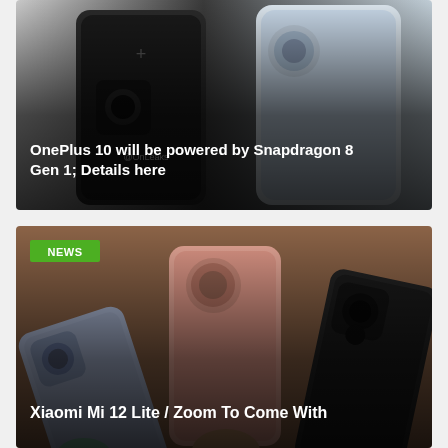[Figure (photo): OnePlus phones shown from back, dark gray and light blue-gray colors, watermark @OnLeaks, with overlay text: OnePlus 10 will be powered by Snapdragon 8 Gen 1; Details here]
[Figure (photo): Three Xiaomi phones held/displayed showing backs: blue-gray, pink/rose, and dark black colors against brown background. NEWS badge top-left. Overlay text: Xiaomi Mi 12 Lite / Zoom To Come With]